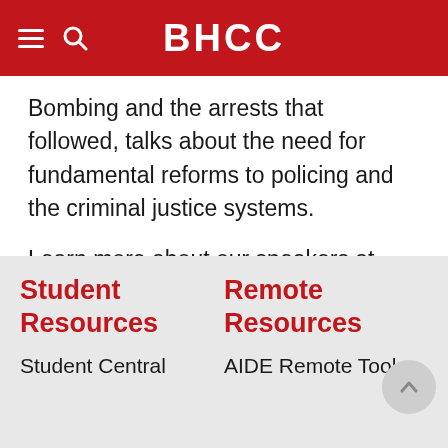BHCC
Bombing and the arrests that followed, talks about the need for fundamental reforms to policing and the criminal justice systems.
Learn more about our speakers at bhcc.edu/speakers.
Student Resources
Remote Resources
Student Central
AIDE Remote Tools